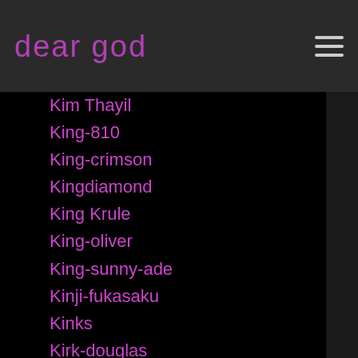dear god
Kim Thayil
King-810
King-crimson
Kingdiamond
King Krule
King-oliver
King-sunny-ade
Kinji-fukasaku
Kinks
Kirk-douglas
Kirk Hammett
Kirk Windstein
Kirsty Maccoll
Kiss
Kitty-the-dj
Klaus-kinski